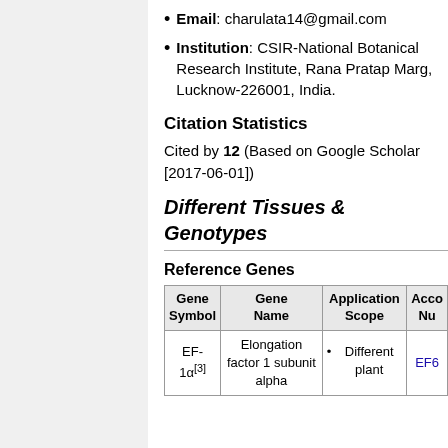Email: charulata14@gmail.com
Institution: CSIR-National Botanical Research Institute, Rana Pratap Marg, Lucknow-226001, India.
Citation Statistics
Cited by 12 (Based on Google Scholar [2017-06-01])
Different Tissues & Genotypes
Reference Genes
| Gene Symbol | Gene Name | Application Scope | Acco Nu |
| --- | --- | --- | --- |
| EF-1α[3] | Elongation factor 1 subunit alpha | • Different plant | EF6… |